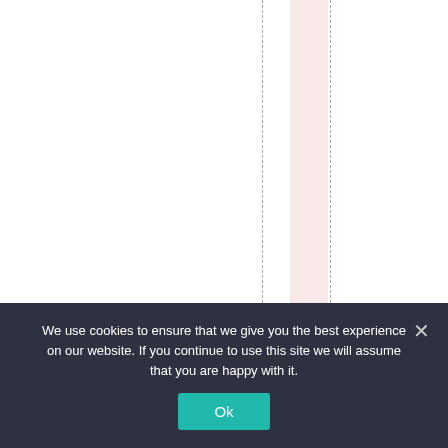[Figure (other): Document page showing vertical dashed lines, a pink highlighted column band, and rotated italic text reading 'ctResearch(PIK)and' (each character on its own line, reading top to bottom).]
We use cookies to ensure that we give you the best experience on our website. If you continue to use this site we will assume that you are happy with it. Ok